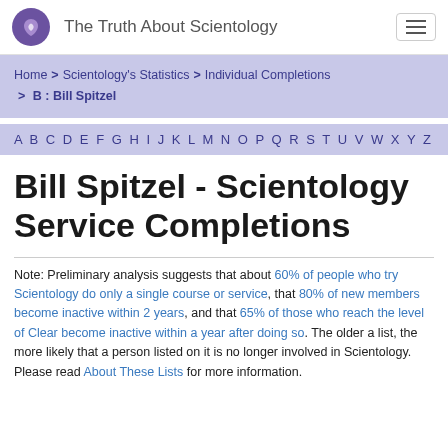The Truth About Scientology
Home > Scientology's Statistics > Individual Completions > B : Bill Spitzel
A B C D E F G H I J K L M N O P Q R S T U V W X Y Z
Bill Spitzel - Scientology Service Completions
Note: Preliminary analysis suggests that about 60% of people who try Scientology do only a single course or service, that 80% of new members become inactive within 2 years, and that 65% of those who reach the level of Clear become inactive within a year after doing so. The older a list, the more likely that a person listed on it is no longer involved in Scientology.
Please read About These Lists for more information.